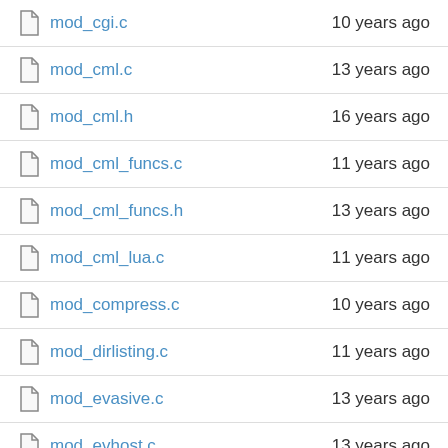mod_cgi.c  10 years ago
mod_cml.c  13 years ago
mod_cml.h  16 years ago
mod_cml_funcs.c  11 years ago
mod_cml_funcs.h  13 years ago
mod_cml_lua.c  11 years ago
mod_compress.c  10 years ago
mod_dirlisting.c  11 years ago
mod_evasive.c  13 years ago
mod_evhost.c  13 years ago
mod_expire.c  13 years ago